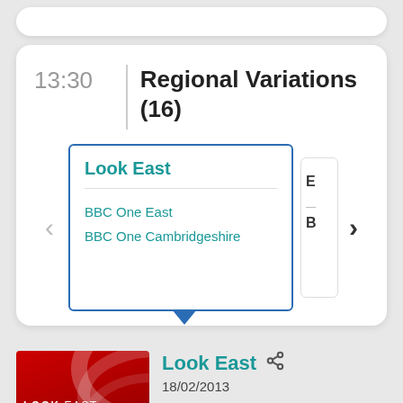13:30
Regional Variations (16)
Look East
BBC One East
BBC One Cambridgeshire
[Figure (screenshot): Look East BBC regional news programme thumbnail — red background with white swoosh lines and LOOK EAST text]
Look East
18/02/2013